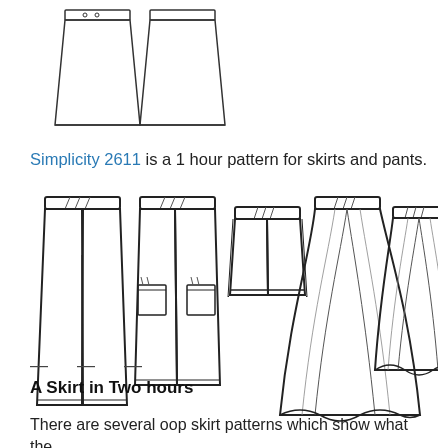[Figure (illustration): Two line-art sketches of skirts side by side at the top of the page]
Simplicity 2611 is a 1 hour pattern for skirts and pants.
[Figure (illustration): Five line-art fashion sketches showing different garments: wide-leg pants, cargo pants, shorts, long flared skirt, and short flared skirt, all with drawstring waistbands]
— — —
A Skirt in Two hours
There are several oop skirt patterns which show what the